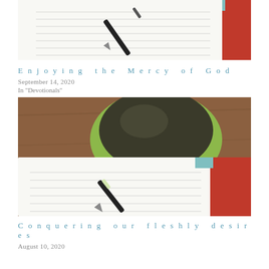[Figure (photo): Top-down view of an open lined notebook with a black fountain pen resting on it, with a red leather cover visible on the right edge. White background.]
Enjoying the Mercy of God
September 14, 2020
In "Devotionals"
[Figure (photo): Top-down view of an open lined notebook with a black fountain pen, a green cup with a dark coffee/CD on a wooden table, red leather cover on the right.]
Conquering our fleshly desires
August 10, 2020